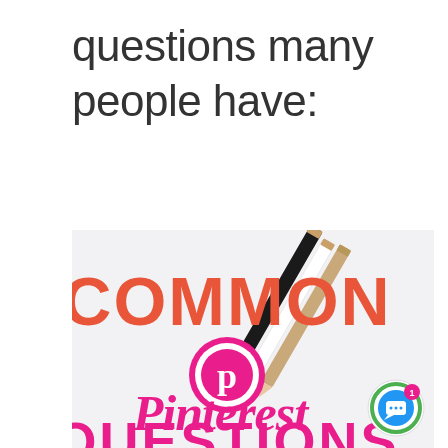questions many people have:
[Figure (infographic): Promotional infographic with light gray background showing the text 'COMMON' in large coral/red letters, a Pinterest logo (pink circle with white P), the word 'Pinterest' in pink cursive script, and 'QUESTIONS' partially visible at the bottom in pink. Pencils are visible in the top-right corner. A chat bubble icon with notification badge is in the bottom-right.]